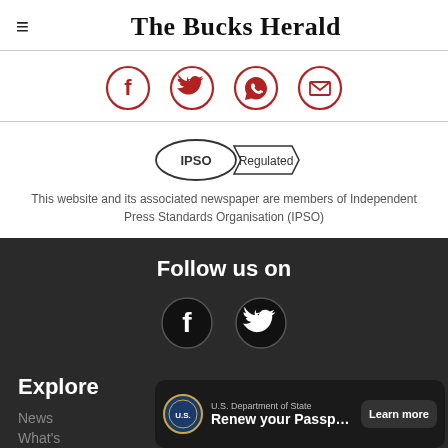The Bucks Herald
[Figure (infographic): Social share icons row: Facebook, Twitter, WhatsApp, Email — red circle outlines with white background]
[Figure (logo): IPSO Regulated badge — oval with ribbon banner]
This website and its associated newspaper are members of Independent Press Standards Organisation (IPSO)
Follow us on
[Figure (infographic): Follow us icons: Facebook and Twitter in dark circles on dark background]
Explore
News
What's
[Figure (infographic): Advertisement banner: U.S. Department of State seal, 'Renew your Passport', Learn more button]